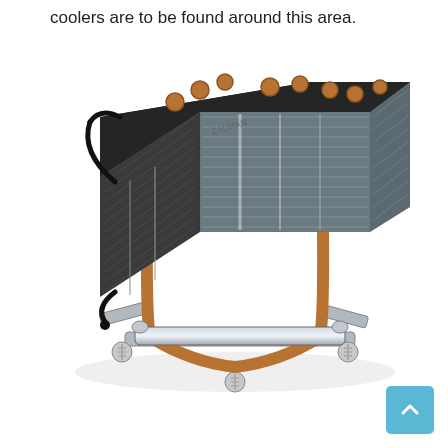coolers are to be found around this area.
[Figure (photo): A CPU cooler / heatsink with copper heat pipes running through aluminum fins, mounted on a metal bracket with spring-loaded screws. The heatsink has a dark top cap with copper contact points visible, and shows diagonal aluminum fin lines. The mounting bracket is silver/chrome colored with spring mechanisms at the corners.]